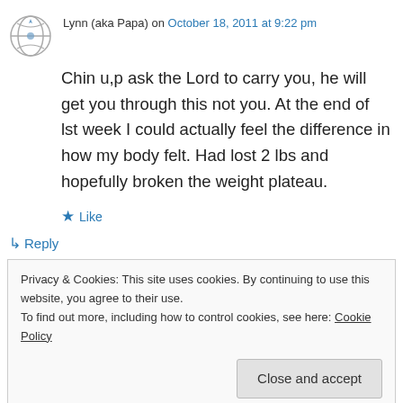Lynn (aka Papa) on October 18, 2011 at 9:22 pm
Chin u,p ask the Lord to carry you, he will get you through this not you. At the end of lst week I could actually feel the difference in how my body felt. Had lost 2 lbs and hopefully broken the weight plateau.
★ Like
↳ Reply
Privacy & Cookies: This site uses cookies. By continuing to use this website, you agree to their use. To find out more, including how to control cookies, see here: Cookie Policy
Close and accept
[Figure (photo): Partial image showing text 'LOVE' in large bold serif font]